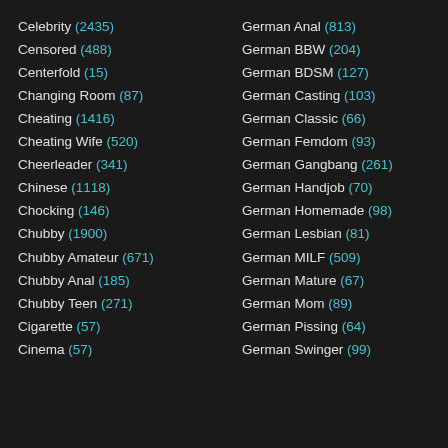Celebrity (2435)
Censored (488)
Centerfold (15)
Changing Room (87)
Cheating (1416)
Cheating Wife (520)
Cheerleader (341)
Chinese (1118)
Chocking (146)
Chubby (1900)
Chubby Amateur (671)
Chubby Anal (185)
Chubby Teen (271)
Cigarette (57)
Cinema (57)
German Anal (813)
German BBW (204)
German BDSM (127)
German Casting (103)
German Classic (66)
German Femdom (93)
German Gangbang (261)
German Handjob (70)
German Homemade (98)
German Lesbian (81)
German MILF (509)
German Mature (67)
German Mom (89)
German Pissing (64)
German Swinger (99)